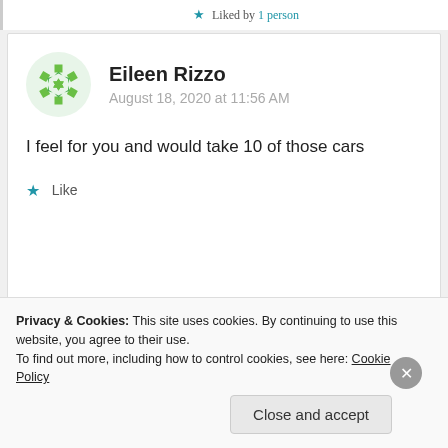★ Liked by 1 person
Eileen Rizzo
August 18, 2020 at 11:56 AM
I feel for you and would take 10 of those cars
★ Like
Privacy & Cookies: This site uses cookies. By continuing to use this website, you agree to their use.
To find out more, including how to control cookies, see here: Cookie Policy
Close and accept